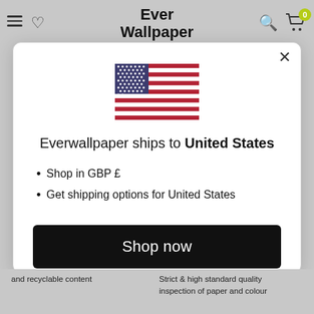Ever Wallpaper
[Figure (illustration): US flag SVG illustration]
Everwallpaper ships to United States
Shop in GBP £
Get shipping options for United States
Shop now
Change shipping country
and recyclable content    Strict & high standard quality inspection of paper and colour